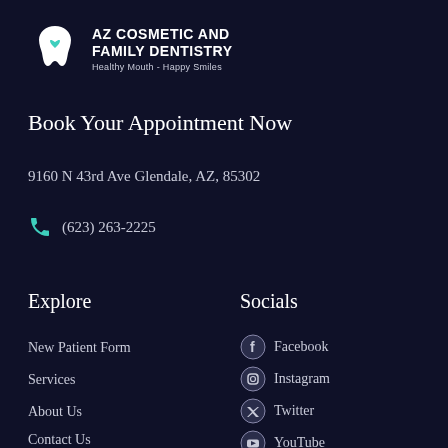[Figure (logo): AZ Cosmetic and Family Dentistry logo with tooth icon]
Book Your Appointment Now
9160 N 43rd Ave Glendale, AZ, 85302
(623) 263-2225
Explore
Socials
New Patient Form
Facebook
Services
Instagram
About Us
Twitter
Contact Us
YouTube